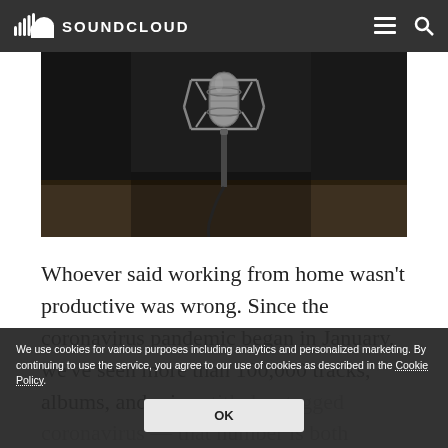SOUNDCLOUD
[Figure (photo): Black and white photo of a professional studio condenser microphone on a shock mount in a dark recording studio environment]
Whoever said working from home wasn't productive was wrong. Since the coronavirus pandemic began in January, we've seen more than 100,000 tracks, albums, and mixes titled or tagged coronavirus — that number is both staggering and a good sign that creators are making the most of their time
We use cookies for various purposes including analytics and personalized marketing. By continuing to use the service, you agree to our use of cookies as described in the Cookie Policy.
OK